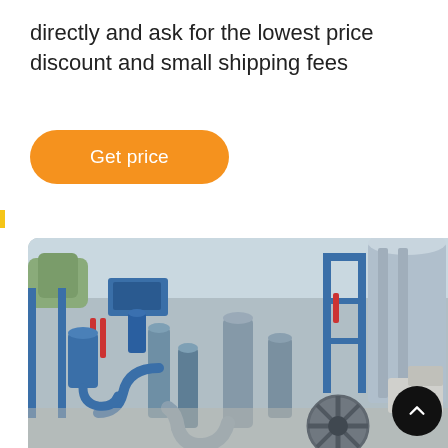directly and ask for the lowest price discount and small shipping fees
Get price
[Figure (photo): Aerial view of an industrial plant with blue steel structures, pipes, cylinders, silos, and processing equipment arranged on a concrete ground outdoors.]